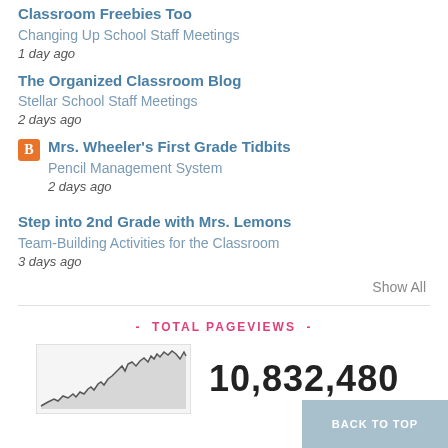Classroom Freebies Too
Changing Up School Staff Meetings
1 day ago
The Organized Classroom Blog
Stellar School Staff Meetings
2 days ago
Mrs. Wheeler's First Grade Tidbits
Pencil Management System
2 days ago
Step into 2nd Grade with Mrs. Lemons
Team-Building Activities for the Classroom
3 days ago
Show All
- TOTAL PAGEVIEWS -
[Figure (continuous-plot): Small area/line chart showing pageview history over time, shaded area underneath a jagged line]
10,832,480
BACK TO TOP